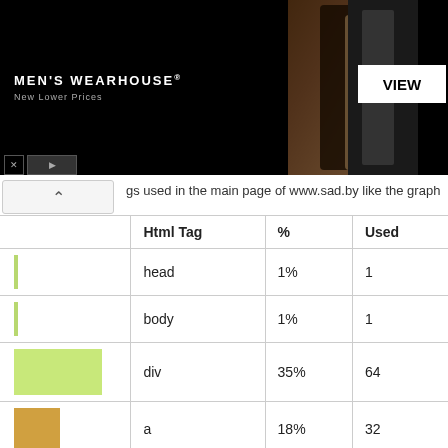[Figure (photo): Men's Wearhouse advertisement banner with couple in formal wear and mannequin, black background with 'VIEW' button]
gs used in the main page of www.sad.by like the graph
|  | Html Tag | % | Used |
| --- | --- | --- | --- |
| [bar] | head | 1% | 1 |
| [bar] | body | 1% | 1 |
| [bar-large] | div | 35% | 64 |
| [bar-med] | a | 18% | 32 |
| [bar] | form | 2% | 2 |
| [bar-sm] | input | 5% | 9 |
| [bar] | label | 1% | 1 |
| [bar] | noindex | 1% | 1 |